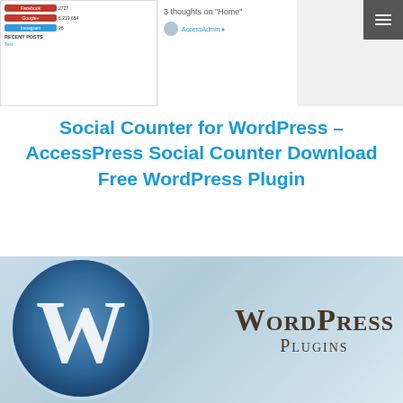[Figure (screenshot): Screenshot of a WordPress website showing social counter widget with Facebook, Google+, Instagram counts, recent posts section, a comments section showing '3 thoughts on Home', and a hamburger menu icon in the top right.]
Social Counter for WordPress – AccessPress Social Counter Download Free WordPress Plugin
[Figure (photo): WordPress Plugins banner image showing the WordPress 'W' logo on a blue gradient background with the text 'WordPress Plugins' in serif font.]